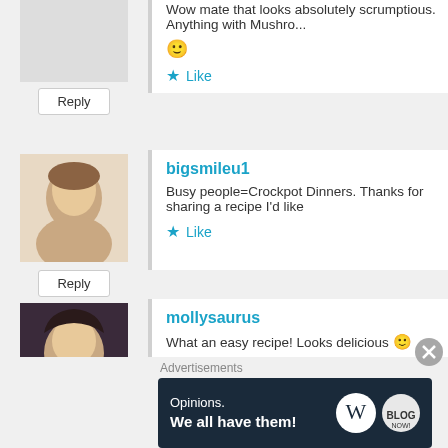Wow mate that looks absolutely scrumptious. Anything with Mushro... 🙂
Like
Reply
bigsmileu1
Busy people=Crockpot Dinners. Thanks for sharing a recipe I'd like...
Like
Reply
mollysaurus
What an easy recipe! Looks delicious 🙂
Like
Reply
Gluten-free Medley
I'll bet that would work with my husband's wallet too, or maybe hi...
Advertisements
[Figure (screenshot): Advertisement banner: Opinions. We all have them! with WordPress and another logo on dark navy background]